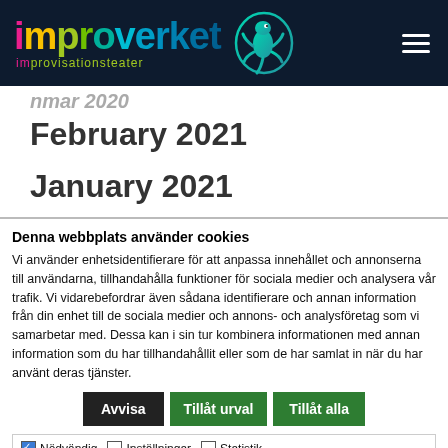[Figure (logo): Improverket improvisationsteater logo with colorful text and gecko mascot on dark navy background]
February 2021
January 2021
Denna webbplats använder cookies
Vi använder enhetsidentifierare för att anpassa innehållet och annonserna till användarna, tillhandahålla funktioner för sociala medier och analysera vår trafik. Vi vidarebefordrar även sådana identifierare och annan information från din enhet till de sociala medier och annons- och analysföretag som vi samarbetar med. Dessa kan i sin tur kombinera informationen med annan information som du har tillhandahållit eller som de har samlat in när du har använt deras tjänster.
Avvisa | Tillåt urval | Tillåt alla
Nödvändig  Inställningar  Statistik  Marknadsföring  Visa detaljer